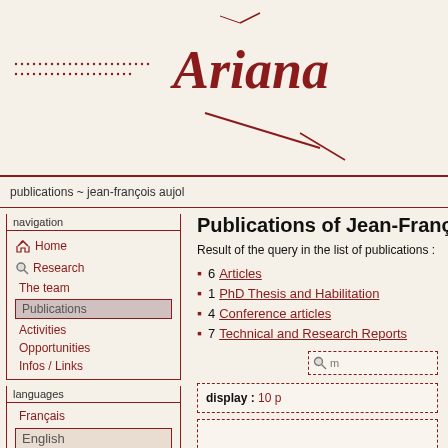[Figure (logo): Ariana logo in red script font with decorative lines]
publications ~ jean-françois aujol
navigation
Home
Research
The team
Publications
Activities
Opportunities
Infos / Links
languages
Français
English
infos
Publications of Jean-François A
Result of the query in the list of publications :
6 Articles
1 PhD Thesis and Habilitation
4 Conference articles
7 Technical and Research Reports
display : 10 p